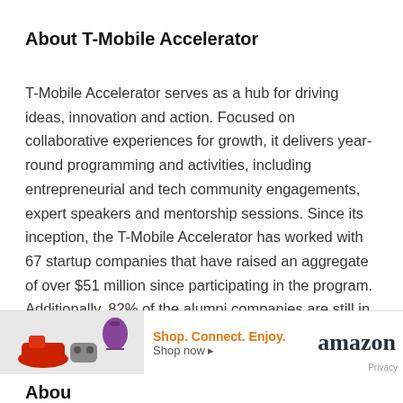About T-Mobile Accelerator
T-Mobile Accelerator serves as a hub for driving ideas, innovation and action. Focused on collaborative experiences for growth, it delivers year-round programming and activities, including entrepreneurial and tech community engagements, expert speakers and mentorship sessions. Since its inception, the T-Mobile Accelerator has worked with 67 startup companies that have raised an aggregate of over $51 million since participating in the program. Additionally, 82% of the alumni companies are still in business today
[Figure (other): Amazon advertisement banner with product images (shoes, gaming controller, purple handbag) and text 'Shop. Connect. Enjoy. Shop now' with Amazon logo]
Abou